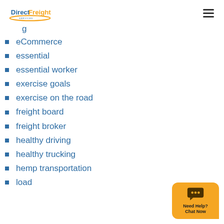DirectFreight Services logo and navigation
eCommerce
essential
essential worker
exercise goals
exercise on the road
freight board
freight broker
healthy driving
healthy trucking
hemp transportation
load